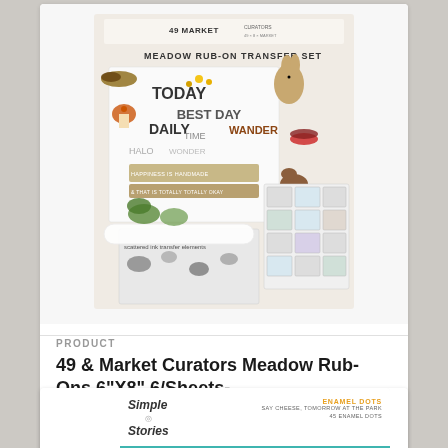[Figure (photo): 49 & Market Curators Meadow Rub-On Transfer Set product packaging showing multiple sheets with nature illustrations, text transfers (TODAY, BEST DAY, TIME, DAILY, WANDER, HALO), vintage stamps, and botanical/animal imagery]
PRODUCT
49 & Market Curators Meadow Rub-Ons 6"X8" 6/Sheets-
$12.59
[Figure (photo): Simple Stories Enamel Dots product - Say Cheese, Tomorrow at the Park, 45 enamel dots in black, orange, blue, red, and green colors arranged in a grid]